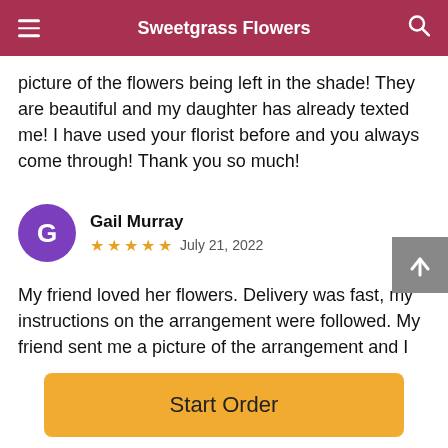Sweetgrass Flowers
picture of the flowers being left in the shade! They are beautiful and my daughter has already texted me! I have used your florist before and you always come through! Thank you so much!
Gail Murray — ★★★★★ July 21, 2022
My friend loved her flowers. Delivery was fast, my instructions on the arrangement were followed. My friend sent me a picture of the arrangement and I thought is was beautiful too. Just the right balance of colors and different forms.
Start Order